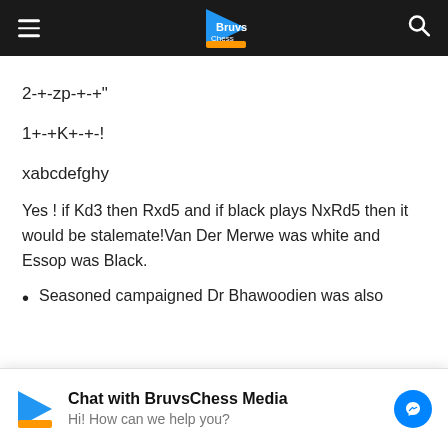BruvsChess Media
2-+-zp-+-+"
1+-+K+-+-!
xabcdefghy
Yes ! if Kd3 then Rxd5 and if black plays NxRd5 then it would be stalemate!Van Der Merwe was white and Essop was Black.
Seasoned campaigned Dr Bhawoodien was also
Bhawoodien as Black reply?